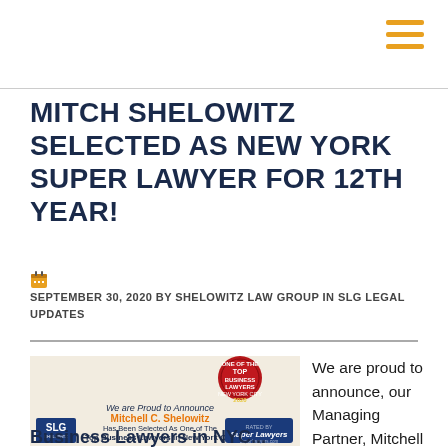MITCH SHELOWITZ SELECTED AS NEW YORK SUPER LAWYER FOR 12TH YEAR!
SEPTEMBER 30, 2020 BY SHELOWITZ LAW GROUP IN SLG LEGAL UPDATES
[Figure (infographic): Promotional announcement image for Shelowitz Law Group stating Mitchell C. Shelowitz has been selected as one of the Top Business Lawyers in New York City by New York Super Lawyers for the Twelfth Year, with Top Business Lawyers 2020 seal and Super Lawyers badge]
We are proud to announce, our Managing Partner, Mitchell C. Shelowitz, has been selected as one of the top
Business Lawyers in NYC...